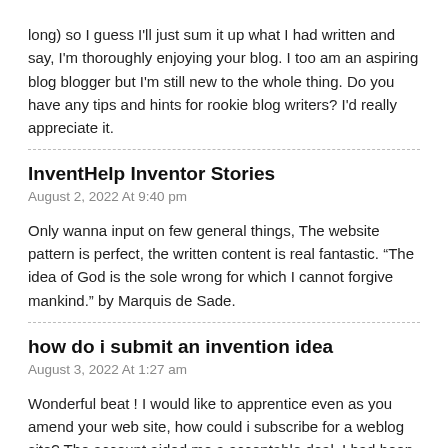long) so I guess I'll just sum it up what I had written and say, I'm thoroughly enjoying your blog. I too am an aspiring blog blogger but I'm still new to the whole thing. Do you have any tips and hints for rookie blog writers? I'd really appreciate it.
InventHelp Inventor Stories
August 2, 2022 At 9:40 pm
Only wanna input on few general things, The website pattern is perfect, the written content is real fantastic. “The idea of God is the sole wrong for which I cannot forgive mankind.” by Marquis de Sade.
how do i submit an invention idea
August 3, 2022 At 1:27 am
Wonderful beat ! I would like to apprentice even as you amend your web site, how could i subscribe for a weblog site? The account aided me a acceptable deal. I had been a little bit acquainted of this your broadcast offered brilliant clear concept
how do i get an invention idea off the ground
August 3, 2022 At 4:28 am
you have a great blog here! would you like to make some invite posts on my blog?